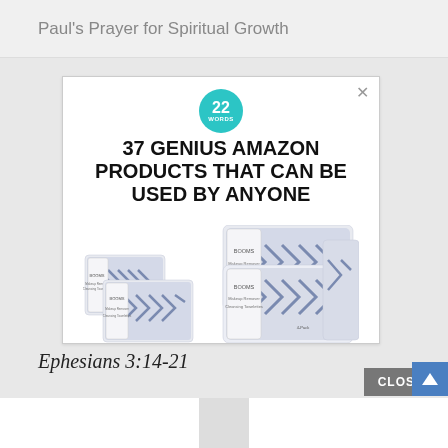Paul's Prayer for Spiritual Growth
[Figure (screenshot): Advertisement popup for '22 Words' website showing '37 Genius Amazon Products That Can Be Used by Anyone' with product images of packaged wipes with blue geometric pattern packaging, and an X close button in the top right.]
Ephesians 3:14-21
CLOSE